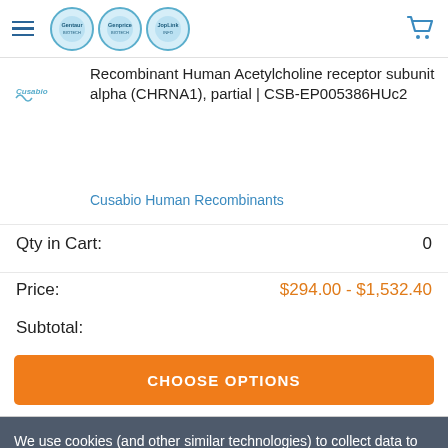Gentaur Genprice JopLink — navigation header with hamburger menu and cart icon
Recombinant Human Acetylcholine receptor subunit alpha (CHRNA1), partial | CSB-EP005386HUc2
Cusabio Human Recombinants
Qty in Cart: 0
Price: $294.00 - $1,532.40
Subtotal:
CHOOSE OPTIONS
We use cookies (and other similar technologies) to collect data to improve your shopping experience.
Settings
Reject all
Accept All Cookies